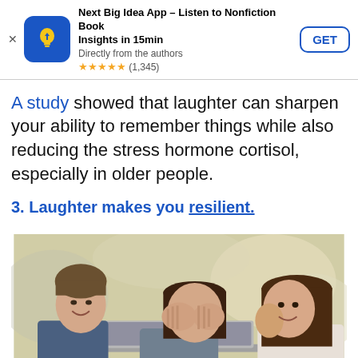[Figure (screenshot): App store advertisement banner for 'Next Big Idea App – Listen to Nonfiction Book Insights in 15min'. Shows app icon (blue with yellow lightbulb/arrow), title, subtitle 'Directly from the authors', star rating ★★★★★ (1,345), and a GET button.]
A study showed that laughter can sharpen your ability to remember things while also reducing the stress hormone cortisol, especially in older people.
3. Laughter makes you resilient.
[Figure (photo): Three young people (two women and one man) laughing together while looking at a laptop screen, sitting outdoors in a blurred background setting.]